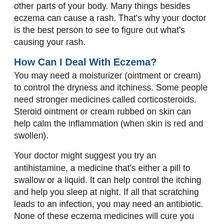other parts of your body. Many things besides eczema can cause a rash. That's why your doctor is the best person to see to figure out what's causing your rash.
How Can I Deal With Eczema?
You may need a moisturizer (ointment or cream) to control the dryness and itchiness. Some people need stronger medicines called corticosteroids. Steroid ointment or cream rubbed on skin can help calm the inflammation (when skin is red and swollen).
Your doctor might suggest you try an antihistamine, a medicine that's either a pill to swallow or a liquid. It can help control the itching and help you sleep at night. If all that scratching leads to an infection, you may need an antibiotic. None of these eczema medicines will cure you forever, but they can help make your skin more comfortable and less red.